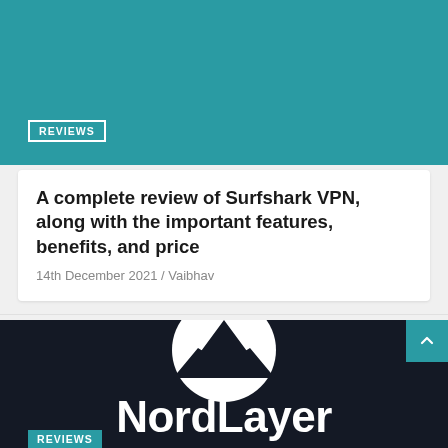REVIEWS
A complete review of Surfshark VPN, along with the important features, benefits, and price
14th December 2021 / Vaibhav
[Figure (logo): NordLayer logo on dark background: white circle with mountain silhouette and text 'NordLayer' in bold white letters below]
REVIEWS